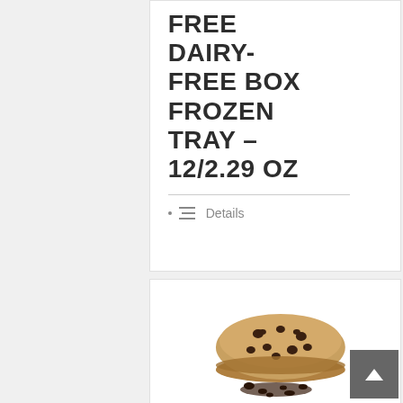FREE DAIRY-FREE BOX FROZEN TRAY – 12/2.29 OZ
Details
[Figure (photo): A chocolate chip cookie/cheesecake product displayed with chocolate chips scattered around it on a white background]
CHEESECAKE, CHOCOLATE